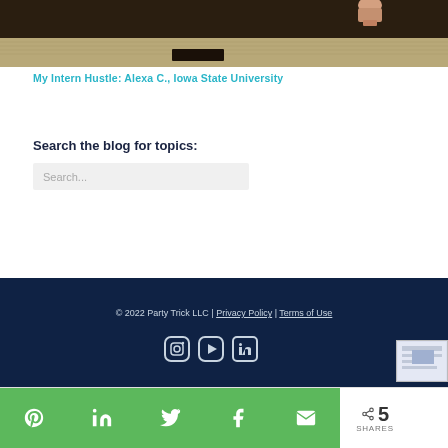[Figure (photo): Bottom portion of a photo showing a stage or event floor with a dark curtain backdrop, carpeted floor, and a dark plaque/marker. A person's foot in a nude heel is partially visible at the top right.]
My Intern Hustle: Alexa C., Iowa State University
Search the blog for topics:
Search...
© 2022 Party Trick LLC | Privacy Policy | Terms of Use
[Figure (other): Social media icons: Instagram, YouTube/Play, LinkedIn]
[Figure (screenshot): Small preview thumbnail of a website]
5 SHARES — share buttons: Pinterest, LinkedIn, Twitter, Facebook, Email